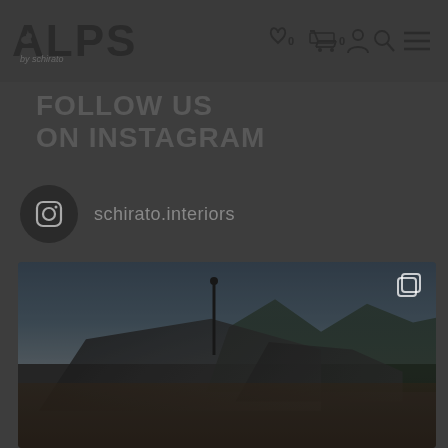ALPS by schirato — navigation header with wishlist (0), cart (0), account, search, and menu icons
FOLLOW US
ON INSTAGRAM
schirato.interiors
[Figure (photo): Photograph of an Alpine chalet with dark sloping roofs, a weather vane spire, green pine forest in the background, and blue sky with clouds. An Instagram multiple-images icon appears in the top-right corner of the photo.]